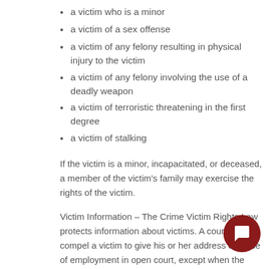a victim who is a minor
a victim of a sex offense
a victim of any felony resulting in physical injury to the victim
a victim of any felony involving the use of a deadly weapon
a victim of terroristic threatening in the first degree
a victim of stalking
If the victim is a minor, incapacitated, or deceased, a member of the victim's family may exercise the rights of the victim.
Victim Information – The Crime Victim Rights Law protects information about victims. A court cannot compel a victim to give his or her address or place of employment in open court, except when the court decides it is essential to the case. Law enforcement agencies cannot disclose information to the public about the identity of the victim of a sex crime except under limited